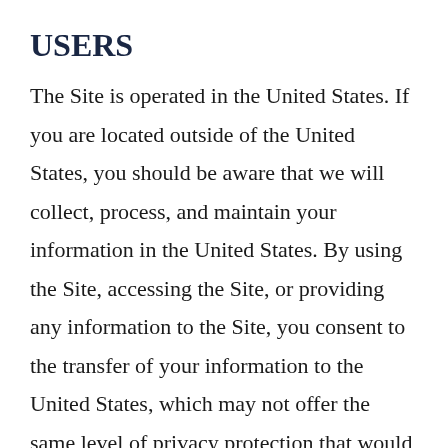USERS
The Site is operated in the United States. If you are located outside of the United States, you should be aware that we will collect, process, and maintain your information in the United States. By using the Site, accessing the Site, or providing any information to the Site, you consent to the transfer of your information to the United States, which may not offer the same level of privacy protection that would be required in your home country, and to the processing and maintaining of